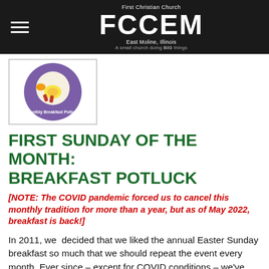First Christian Church FCCEM East Moline, Illinois A small church doing BIG things
[Figure (illustration): Circular badge/logo with purple background showing breakfast foods (eggs, bacon, orange) and text 'Monthly Breakfast Potluck']
FIRST SUNDAY OF THE MONTH: BREAKFAST POTLUCK
[NOTE: The COVID pandemic forced us to cancel this monthly tradition for more than a year, but as of May 2022, breakfast is back!]
In 2011, we decided that we liked the annual Easter Sunday breakfast so much that we should repeat the event every month. Ever since – except for COVID conditions – we've held a breakfast potluck on the first Sunday of the month.